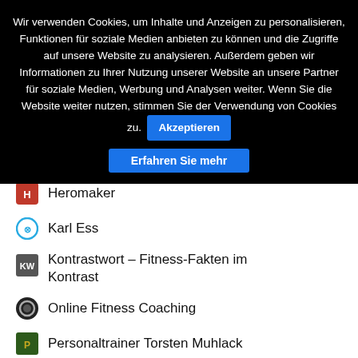Wir verwenden Cookies, um Inhalte und Anzeigen zu personalisieren, Funktionen für soziale Medien anbieten zu können und die Zugriffe auf unsere Website zu analysieren. Außerdem geben wir Informationen zu Ihrer Nutzung unserer Website an unsere Partner für soziale Medien, Werbung und Analysen weiter. Wenn Sie die Website weiter nutzen, stimmen Sie der Verwendung von Cookies zu. [Akzeptieren] [Erfahren Sie mehr]
Heromaker
Karl Ess
Kontrastwort – Fitness-Fakten im Kontrast
Online Fitness Coaching
Personaltrainer Torsten Muhlack
Sport-Attack – Das Sportportal
Thomsan Nutrition Coaching
Tri It Fit
Yogamodeblog